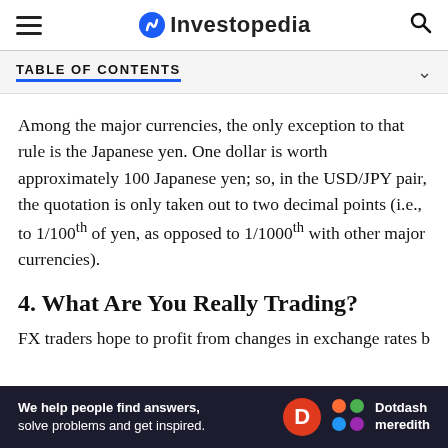Investopedia
TABLE OF CONTENTS
Among the major currencies, the only exception to that rule is the Japanese yen. One dollar is worth approximately 100 Japanese yen; so, in the USD/JPY pair, the quotation is only taken out to two decimal points (i.e., to 1/100th of yen, as opposed to 1/1000th with other major currencies).
4. What Are You Really Trading?
FX traders hope to profit from changes in exchange rates between currency pairs. For dollar-denominated
[Figure (other): Dotdash Meredith advertisement bar at the bottom: 'We help people find answers, solve problems and get inspired.' with Dotdash Meredith logo]